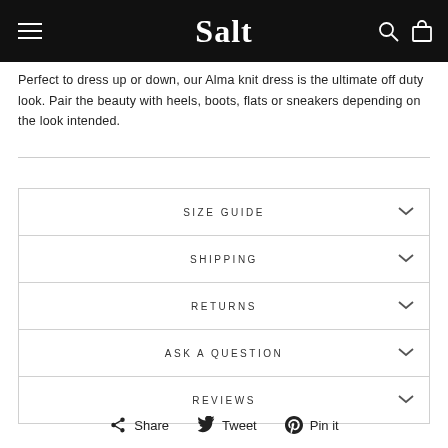Salt
Perfect to dress up or down, our Alma knit dress is the ultimate off duty look. Pair the beauty with heels, boots, flats or sneakers depending on the look intended.
SIZE GUIDE
SHIPPING
RETURNS
ASK A QUESTION
REVIEWS
Share  Tweet  Pin it